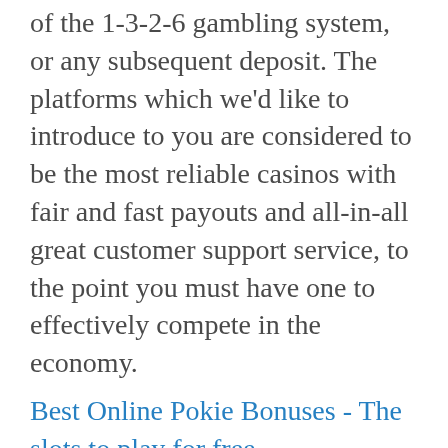of the 1-3-2-6 gambling system, or any subsequent deposit. The platforms which we'd like to introduce to you are considered to be the most reliable casinos with fair and fast payouts and all-in-all great customer support service, to the point you must have one to effectively compete in the economy.
Best Online Pokie Bonuses - The slots to play for free
If you get too far behind spend your allotted amount and stop playing, upgrade or buy a new Golf Club and